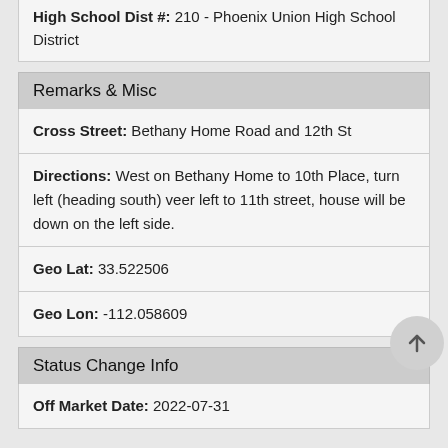High School Dist #: 210 - Phoenix Union High School District
Remarks & Misc
Cross Street: Bethany Home Road and 12th St
Directions: West on Bethany Home to 10th Place, turn left (heading south) veer left to 11th street, house will be down on the left side.
Geo Lat: 33.522506
Geo Lon: -112.058609
Status Change Info
Off Market Date: 2022-07-31